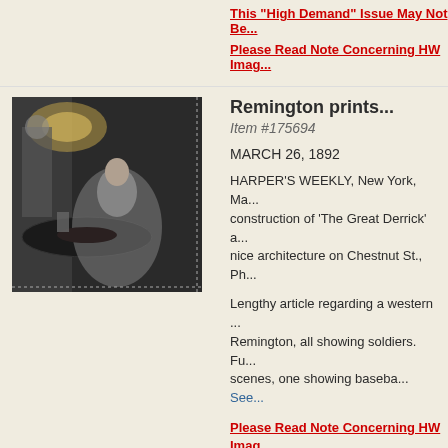This "High Demand" Issue May Not Be...
Please Read Note Concerning HW Imag...
[Figure (photo): Black and white photograph showing a woman in an elegant dress seated at a round dining table, with another figure standing in the background, indoor scene with lamp lighting.]
Remington prints...
Item #175694
MARCH 26, 1892
HARPER'S WEEKLY, New York, Ma... construction of 'The Great Derrick' a... nice architecture on Chestnut St., Ph...
Lengthy article regarding a western ... Remington, all showing soldiers. Fu... scenes, one showing baseba... See...
Please Read Note Concerning HW Imag...
[Figure (photo): Dark photograph showing what appears to be a paper or document in a dark background.]
Walt Whitman... Caribou in Ma...
Item #175696
APRIL 02, 1892